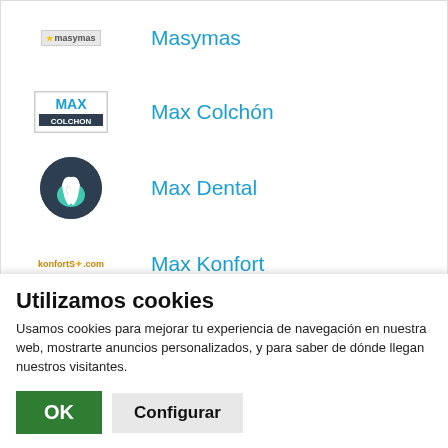Masymas
Max Colchón
Max Dental
Max Konfort
Max Mara
Utilizamos cookies
Usamos cookies para mejorar tu experiencia de navegación en nuestra web, mostrarte anuncios personalizados, y para saber de dónde llegan nuestros visitantes.
OK
Configurar